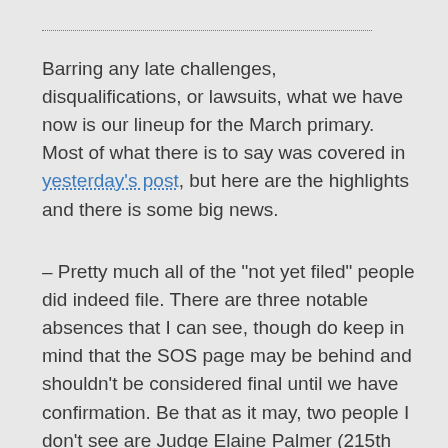Barring any late challenges, disqualifications, or lawsuits, what we have now is our lineup for the March primary. Most of what there is to say was covered in yesterday’s post, but here are the highlights and there is some big news.
– Pretty much all of the “not yet filed” people did indeed file. There are three notable absences that I can see, though do keep in mind that the SOS page may be behind and shouldn’t be considered final until we have confirmation. Be that as it may, two people I don’t see are Judge Elaine Palmer (215th Civil Court; no one is listed on the Dem side for this court as of Monday night) and Precinct 1 Constable Alan Rosen. Hold those in mind, because there are news stories about some of the other interesting bits. Until I hear